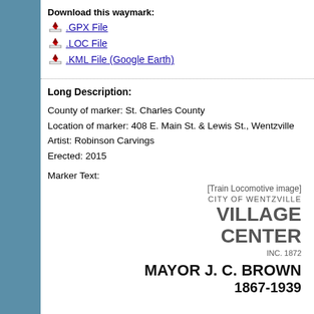Download this waymark:
.GPX File
.LOC File
.KML File (Google Earth)
Long Description:
County of marker: St. Charles County
Location of marker: 408 E. Main St. & Lewis St., Wentzville
Artist: Robinson Carvings
Erected: 2015
Marker Text:
[Train Locomotive image]
CITY OF WENTZVILLE
VILLAGE CENTER
INC. 1872

MAYOR J. C. BROWN
1867-1939